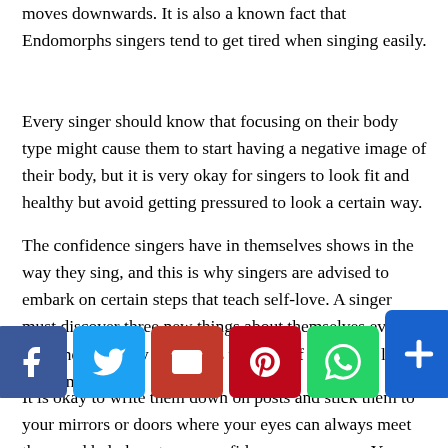moves downwards. It is also a known fact that Endomorphs singers tend to get tired when singing easily.
Every singer should know that focusing on their body type might cause them to start having a negative image of their body, but it is very okay for singers to look fit and healthy but avoid getting pressured to look a certain way.
The confidence singers have in themselves shows in the way they sing, and this is why singers are advised to embark on certain steps that teach self-love. A singer must discover three new things about themselves every day, and it is okay to say this to yourself when you look in the mirror.
It is okay to write them down on posts and stick them to your mirrors or doors where your eyes can always meet them and help boost your confidence some more. You will start making a difference when you convert the negative voice in your
[Figure (infographic): Social sharing buttons: Facebook, Twitter, Email, Pinterest, WhatsApp, AddThis]